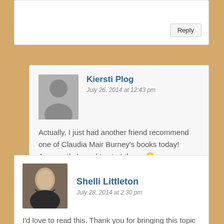Reply
Kiersti Plog
July 26, 2014 at 12:43 pm
Actually, I just had another friend recommend one of Claudia Mair Burney's books today! Apparently I need to start there. 🙂
Reply
Shelli Littleton
July 28, 2014 at 2:30 pm
I'd love to read this. Thank you for bringing this topic to my attention, as well, Kiersti